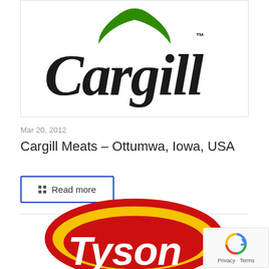[Figure (logo): Cargill logo with green arch and italic black wordmark 'Cargill' with TM superscript]
Mar 20, 2012
Cargill Meats – Ottumwa, Iowa, USA
Read more
[Figure (logo): Tyson Foods logo — red oval with yellow background and red scalloped border, white block letters 'Tyson' partially visible]